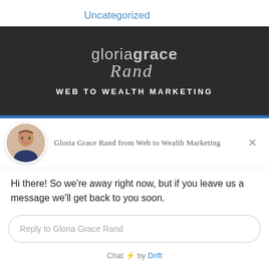Uncategorized
[Figure (logo): Gloria Grace Rand Web to Wealth Marketing dark banner logo with WEB TO WEALTH MARKETING text]
Gloria Grace Rand from Web to Wealth Marketing
Hi there! So we're away right now, but if you leave us a message we'll get back to you soon.
Reply to Gloria Grace Rand
Chat ⚡ by Drift